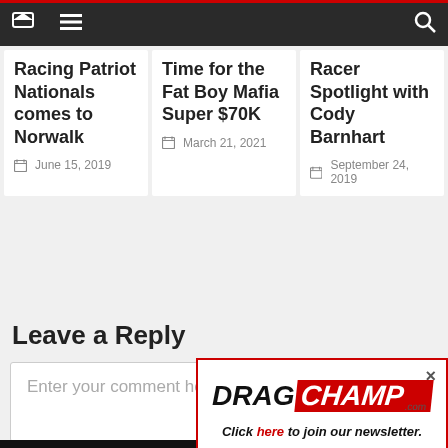Navigation bar with home, menu, and search icons
Racing Patriot Nationals comes to Norwalk
June 15, 2019
Time for the Fat Boy Mafia Super $70K
March 21, 2021
Racer Spotlight with Cody Barnhart
September 24, 2019
Leave a Reply
Enter your comment here...
[Figure (screenshot): Partial ACU Graphics logo on black background]
[Figure (logo): DragChamp.com logo popup with red CHAMP on parallelogram, text: Click here to join our newsletter.]